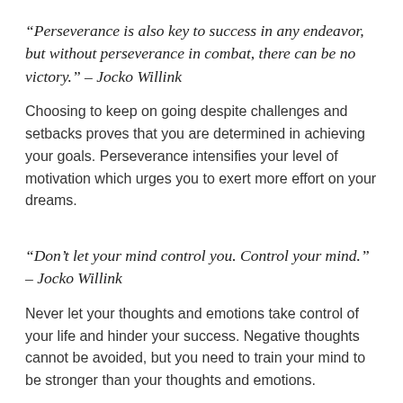“Perseverance is also key to success in any endeavor, but without perseverance in combat, there can be no victory.” – Jocko Willink
Choosing to keep on going despite challenges and setbacks proves that you are determined in achieving your goals. Perseverance intensifies your level of motivation which urges you to exert more effort on your dreams.
“Don’t let your mind control you. Control your mind.” – Jocko Willink
Never let your thoughts and emotions take control of your life and hinder your success. Negative thoughts cannot be avoided, but you need to train your mind to be stronger than your thoughts and emotions.